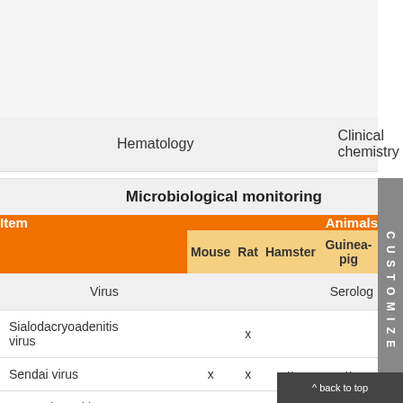|  | Hematology | Clinical chemistry |
| --- | --- | --- |
| Item | Mouse | Rat | Hamster | Guinea-pig |  |
| --- | --- | --- | --- | --- | --- |
| Virus |  |  |  |  | Serolog |
| Sialodacryoadenitis virus |  | x |  |  |  |
| Sendai virus | x | x | x | x |  |
| Mouse hepatitis virus | x |  |  |  |  |